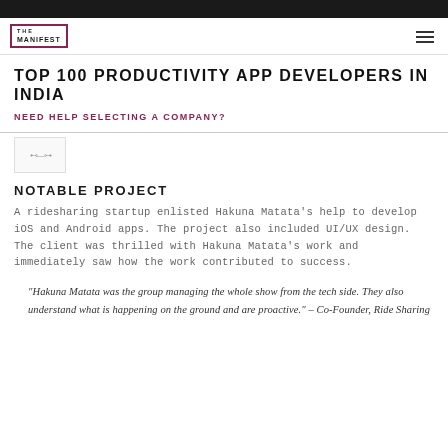THE MANIFEST
TOP 100 PRODUCTIVITY APP DEVELOPERS IN INDIA
NEED HELP SELECTING A COMPANY?
[Figure (logo): Company thumbnail logo placeholder]
NOTABLE PROJECT
A ridesharing startup enlisted Hakuna Matata's help to develop iOS and Android apps. The project also included UI/UX design. The client was thrilled with Hakuna Matata's work and immediately saw how the work contributed to success.
“Hakuna Matata was the group managing the whole show from the tech side. They also understand what is happening on the ground and are proactive.” – Co-Founder, Ride Sharing